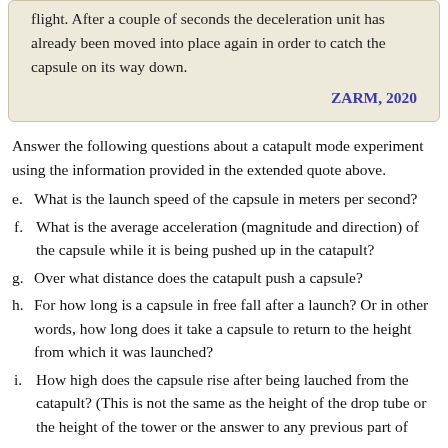flight. After a couple of seconds the deceleration unit has already been moved into place again in order to catch the capsule on its way down.
ZARM, 2020
Answer the following questions about a catapult mode experiment using the information provided in the extended quote above.
e. What is the launch speed of the capsule in meters per second?
f. What is the average acceleration (magnitude and direction) of the capsule while it is being pushed up in the catapult?
g. Over what distance does the catapult push a capsule?
h. For how long is a capsule in free fall after a launch? Or in other words, how long does it take a capsule to return to the height from which it was launched?
i. How high does the capsule rise after being lauched from the catapult? (This is not the same as the height of the drop tube or the height of the tower or the answer to any previous part of